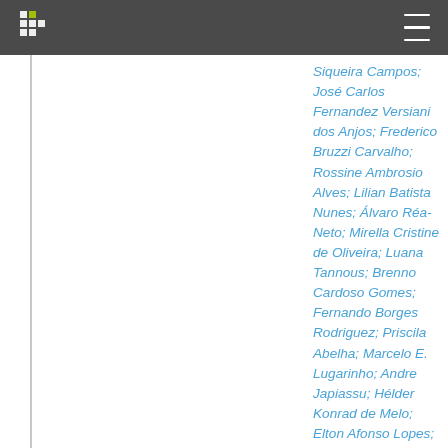Siqueira Campos; José Carlos Fernandez Versiani dos Anjos; Frederico Bruzzi Carvalho; Rossine Ambrosio Alves; Lilian Batista Nunes; Álvaro Réa-Neto; Mirella Cristine de Oliveira; Luana Tannous; Brenno Cardoso Gomes; Fernando Borges Rodriguez; Priscila Abelha; Marcelo E. Lugarinho; Andre Japiassu; Hélder Konrad de Melo; Elton Afonso Lopes;